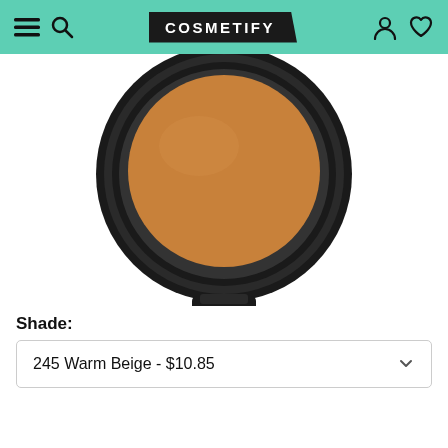COSMETIFY
[Figure (photo): A round compact powder/foundation in a black circular case, open and showing a warm beige/tan colored product inside. Viewed from above against white background.]
Shade:
245 Warm Beige - $10.85